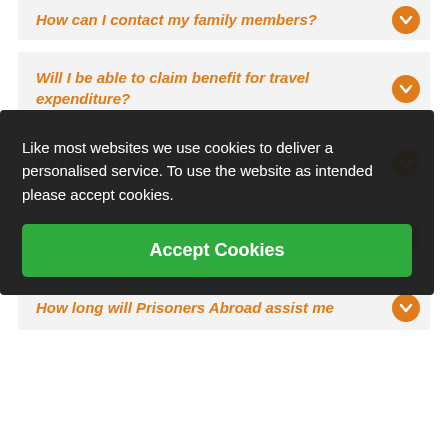How can I contact my family members?
Will I be able to claim benefit for travel expenditure?
Do I have to disclose that I was deported?
...prison record abroad affect me here in the UK?
How long will Prisoners Abroad assist me
Like most websites we use cookies to deliver a personalised service. To use the website as intended please accept cookies.
Accept Cookies